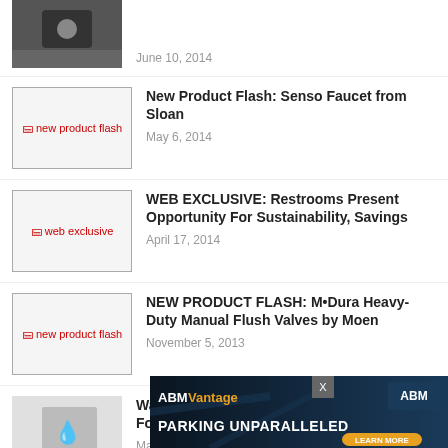[Figure (photo): Black and white photo thumbnail at top]
June 10, 2014
[Figure (other): Broken image placeholder: new product flash]
New Product Flash: Senso Faucet from Sloan
May 6, 2014
[Figure (other): Broken image placeholder: web exclusive]
WEB EXCLUSIVE: Restrooms Present Opportunity For Sustainability, Savings
April 17, 2014
[Figure (other): Broken image placeholder: new product flash]
NEW PRODUCT FLASH: M•Dura Heavy-Duty Manual Flush Valves by Moen
November 5, 2013
[Figure (photo): Faded photo thumbnail]
WaterSense Suggests Sprinkler Spruce-Up For Spring
May 9, 2013
[Figure (other): ABM Vantage advertisement banner: PARKING UNPARALLELED - LEARN MORE]